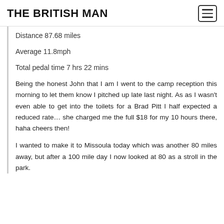THE BRITISH MAN
Distance 87.68 miles
Average 11.8mph
Total pedal time 7 hrs 22 mins
Being the honest John that I am I went to the camp reception this morning to let them know I pitched up late last night. As as I wasn't even able to get into the toilets for a Brad Pitt I half expected a reduced rate... she charged me the full $18 for my 10 hours there, haha cheers then!
I wanted to make it to Missoula today which was another 80 miles away, but after a 100 mile day I now looked at 80 as a stroll in the park.